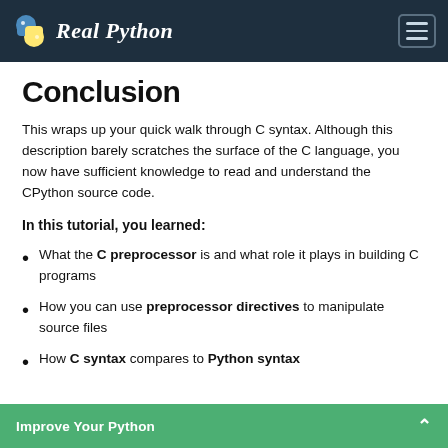Real Python
Conclusion
This wraps up your quick walk through C syntax. Although this description barely scratches the surface of the C language, you now have sufficient knowledge to read and understand the CPython source code.
In this tutorial, you learned:
What the C preprocessor is and what role it plays in building C programs
How you can use preprocessor directives to manipulate source files
How C syntax compares to Python syntax
Improve Your Python